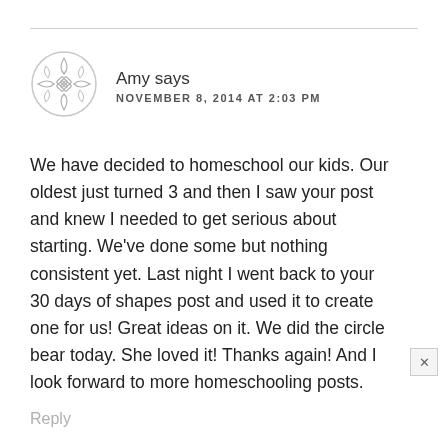[Figure (logo): Decorative circular avatar icon with diamond/leaf pattern in grey]
Amy says
NOVEMBER 8, 2014 AT 2:03 PM
We have decided to homeschool our kids. Our oldest just turned 3 and then I saw your post and knew I needed to get serious about starting. We've done some but nothing consistent yet. Last night I went back to your 30 days of shapes post and used it to create one for us! Great ideas on it. We did the circle bear today. She loved it! Thanks again! And I look forward to more homeschooling posts.
Reply